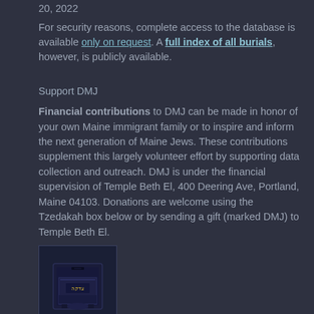20, 2022
For security reasons, complete access to the database is available only on request. A full index of all burials, however, is publicly available.
Support DMJ
Financial contributions to DMJ can be made in honor of your own Maine immigrant family or to inspire and inform the next generation of Maine Jews. These contributions supplement this largely volunteer effort by supporting data collection and outreach. DMJ is under the financial supervision of Temple Beth El, 400 Deering Ave, Portland, Maine 04103. Donations are welcome using the Tzedakah box below or by sending a gift (marked DMJ) to Temple Beth El.
[Figure (photo): A Tzedakah (charity) box, dark blue/black colored with decorative elements, photographed against a dark background.]